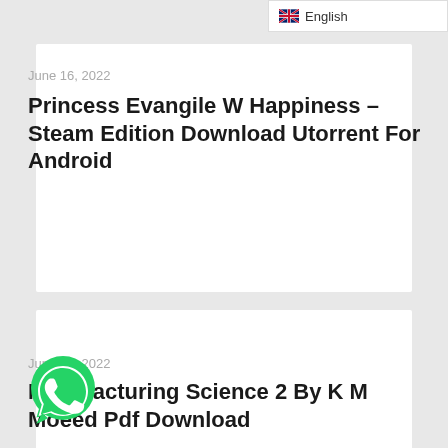🇬🇧 English
June 16, 2022
Princess Evangile W Happiness – Steam Edition Download Utorrent For Android
June 16, 2022
Manufacturing Science 2 By K M Moeed Pdf Download
[Figure (logo): WhatsApp green phone icon logo]